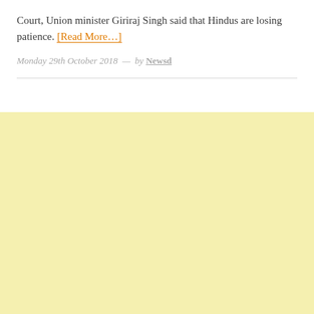Court, Union minister Giriraj Singh said that Hindus are losing patience. [Read More…]
Monday 29th October 2018  —  by Newsd